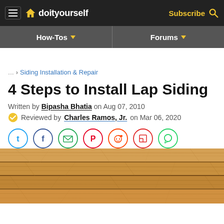doityourself — How-Tos | Forums | Subscribe
... > Siding Installation & Repair
4 Steps to Install Lap Siding
Written by Bipasha Bhatia on Aug 07, 2010
Reviewed by Charles Ramos, Jr. on Mar 06, 2020
[Figure (infographic): Social sharing icons row: Twitter, Facebook, Email, Pinterest, Reddit, Flipboard, WhatsApp]
[Figure (photo): Close-up photo of horizontal wooden lap siding planks with natural wood grain texture]